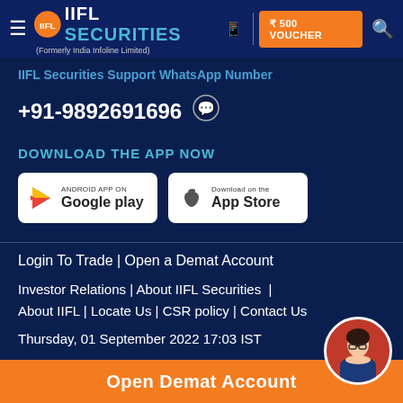IIFL Securities (Formerly India Infoline Limited) | ₹500 VOUCHER
IIFL Securities Support WhatsApp Number
+91-9892691696
DOWNLOAD THE APP NOW
[Figure (logo): Google Play store download button]
[Figure (logo): Apple App Store download button]
Login To Trade | Open a Demat Account
Investor Relations | About IIFL Securities | About IIFL | Locate Us | CSR policy | Contact Us
Thursday, 01 September 2022 17:03 IST
IIFL GROUP
Open Demat Account